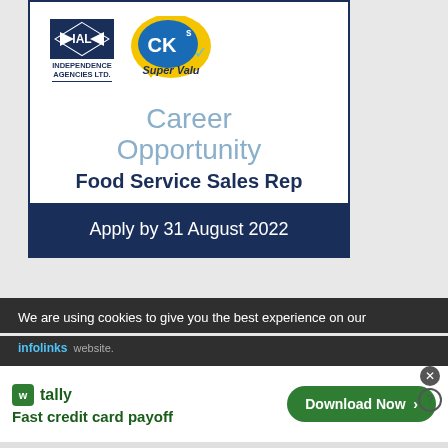[Figure (logo): IAL Independence Agencies Ltd. logo with diamond shape and CK's SuperValu logo side by side]
Career Opportunity
Food Service Sales Rep
Apply by 31 August 2022
We are using cookies to give you the best experience on our website.
infolinks
[Figure (logo): Tally app advertisement - Fast credit card payoff with Download Now button]